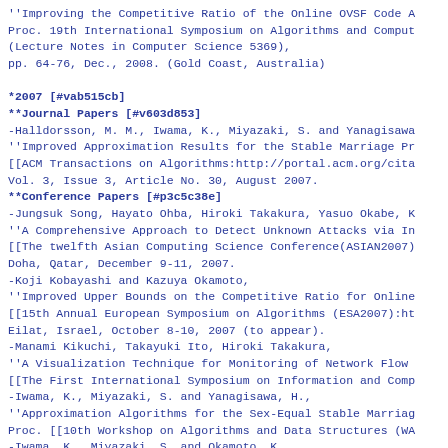''Improving the Competitive Ratio of the Online OVSF Code A...
Proc. 19th International Symposium on Algorithms and Comput...
(Lecture Notes in Computer Science 5369),
pp. 64-76, Dec., 2008. (Gold Coast, Australia)
*2007 [#vab515cb]
**Journal Papers [#v603d853]
-Halldorsson, M. M., Iwama, K., Miyazaki, S. and Yanagisawa...
''Improved Approximation Results for the Stable Marriage Pr...
[[ACM Transactions on Algorithms:http://portal.acm.org/cita...
Vol. 3, Issue 3, Article No. 30, August 2007.
**Conference Papers [#p3c5c38e]
-Jungsuk Song, Hayato Ohba, Hiroki Takakura, Yasuo Okabe, K...
''A Comprehensive Approach to Detect Unknown Attacks via In...
[[The twelfth Asian Computing Science Conference(ASIAN2007)...
Doha, Qatar, December 9-11, 2007.
-Koji Kobayashi and Kazuya Okamoto,
''Improved Upper Bounds on the Competitive Ratio for Online...
[[15th Annual European Symposium on Algorithms (ESA2007):ht...
Eilat, Israel, October 8-10, 2007 (to appear).
-Manami Kikuchi, Takayuki Ito, Hiroki Takakura,
''A Visualization Technique for Monitoring of Network Flow...
[[The First International Symposium on Information and Comp...
-Iwama, K., Miyazaki, S. and Yanagisawa, H.,
''Approximation Algorithms for the Sex-Equal Stable Marriag...
Proc. [[10th Workshop on Algorithms and Data Structures (WA...
-Iwama, K., Miyazaki, S. and Okamoto, K.,
''Stable Roommates Problem with Triple Rooms'',
Proc. [[10th KOREA-JAPAN Joint A... algorithms...